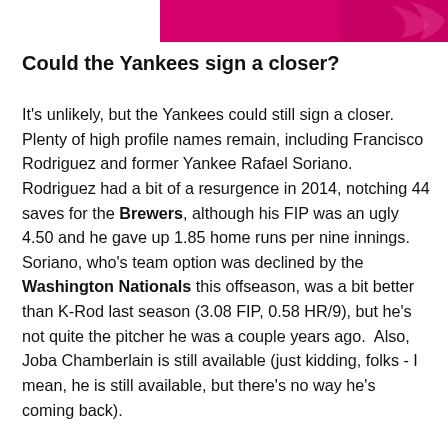[Figure (photo): Pink/magenta banner image at the top of the page, partially visible]
Could the Yankees sign a closer?
It's unlikely, but the Yankees could still sign a closer.  Plenty of high profile names remain, including Francisco Rodriguez and former Yankee Rafael Soriano.  Rodriguez had a bit of a resurgence in 2014, notching 44 saves for the Brewers, although his FIP was an ugly 4.50 and he gave up 1.85 home runs per nine innings.  Soriano, who's team option was declined by the Washington Nationals this offseason, was a bit better than K-Rod last season (3.08 FIP, 0.58 HR/9), but he's not quite the pitcher he was a couple years ago.  Also, Joba Chamberlain is still available (just kidding, folks - I mean, he is still available, but there's no way he's coming back).